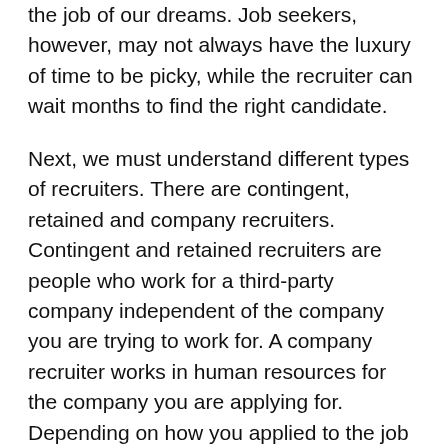the job of our dreams. Job seekers, however, may not always have the luxury of time to be picky, while the recruiter can wait months to find the right candidate.
Next, we must understand different types of recruiters. There are contingent, retained and company recruiters. Contingent and retained recruiters are people who work for a third-party company independent of the company you are trying to work for. A company recruiter works in human resources for the company you are applying for. Depending on how you applied to the job will change what type of recruiter you are working with.
Now the big question, why am I being ignored by a recruiter? Regardless of what type of recruiter you are working with, most answers will be similar. Below, we explain some possibilities to why you are not hearing back from the recruiter.